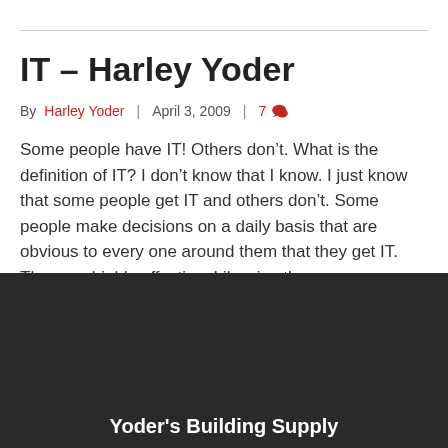IT – Harley Yoder
By Harley Yoder | April 3, 2009 | 7
Some people have IT! Others don't. What is the definition of IT? I don't know that I know. I just know that some people get IT and others don't. Some people make decisions on a daily basis that are obvious to every one around them that they get IT. They are highly effective. Likewise they...
Read More
Yoder's Building Supply